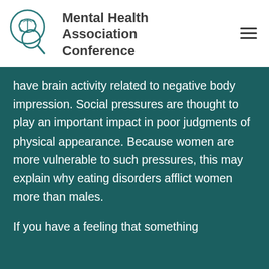Mental Health Association Conference
have brain activity related to negative body impression. Social pressures are thought to play an important impact in poor judgments of physical appearance. Because women are more vulnerable to such pressures, this may explain why eating disorders afflict women more than males.
If you have a feeling that something